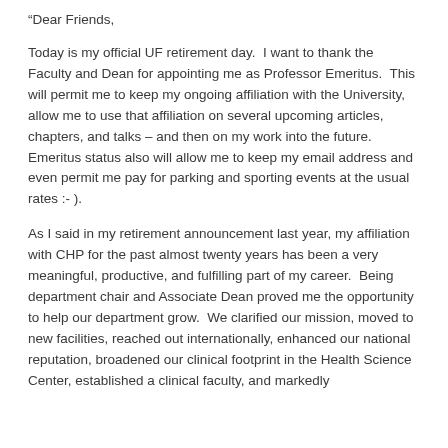“Dear Friends,
Today is my official UF retirement day.  I want to thank the Faculty and Dean for appointing me as Professor Emeritus.  This will permit me to keep my ongoing affiliation with the University, allow me to use that affiliation on several upcoming articles, chapters, and talks – and then on my work into the future. Emeritus status also will allow me to keep my email address and even permit me pay for parking and sporting events at the usual rates :- ).
As I said in my retirement announcement last year, my affiliation with CHP for the past almost twenty years has been a very meaningful, productive, and fulfilling part of my career.  Being department chair and Associate Dean proved me the opportunity to help our department grow.  We clarified our mission, moved to new facilities, reached out internationally, enhanced our national reputation, broadened our clinical footprint in the Health Science Center, established a clinical faculty, and markedly